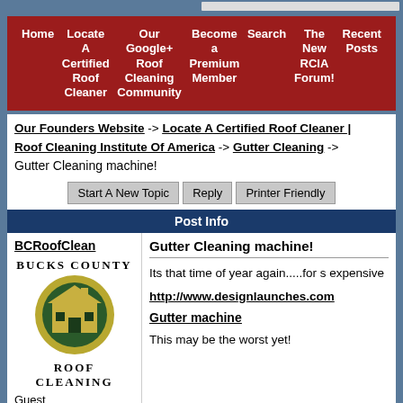Navigation bar: Home | Locate A Certified Roof Cleaner | Our Google+ Roof Cleaning Community | Become a Premium Member | Search | The New RCIA Forum! | Recent Posts
Our Founders Website -> Locate A Certified Roof Cleaner | Roof Cleaning Institute Of America -> Gutter Cleaning ->
Gutter Cleaning machine!
Start A New Topic | Reply | Printer Friendly
Post Info
BCRoofClean
[Figure (logo): Bucks County Roof Cleaning logo with circular green emblem containing a house illustration]
Guest
Gutter Cleaning machine!
Its that time of year again.....for s expensive
http://www.designlaunches.com
Gutter machine
This may be the worst yet!